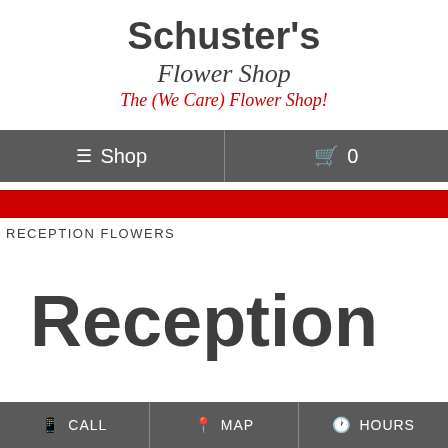Schuster's Flower Shop — The (We Care) Flower Shop!
[Figure (screenshot): Navigation bar with Shop and cart icon showing 0 items]
[Figure (infographic): Red decorative bar]
RECEPTION FLOWERS
Reception
CALL   MAP   HOURS